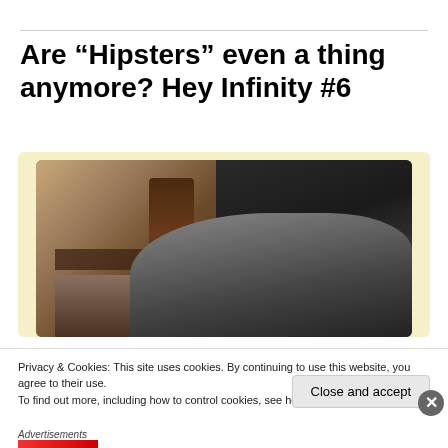Are “Hipsters” even a thing anymore? Hey Infinity #6
[Figure (photo): Close-up photo of a cat with dark fur, lying near wooden furniture with ornate carvings, warm room background visible]
Privacy & Cookies: This site uses cookies. By continuing to use this website, you agree to their use.
To find out more, including how to control cookies, see here: Cookie Policy
Close and accept
Advertisements